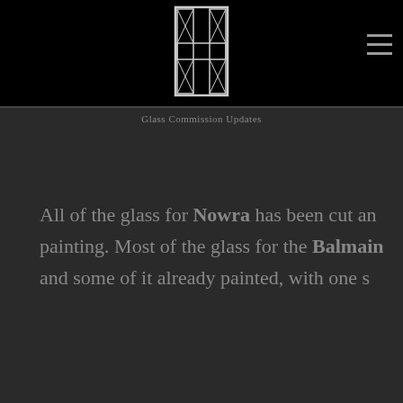[Figure (logo): Stylized letter H logo with geometric grid pattern, white outline on black background]
Glass Commission Updates
All of the glass for Nowra has been cut and ready for painting. Most of the glass for the Balmain and some of it already painted, with one s